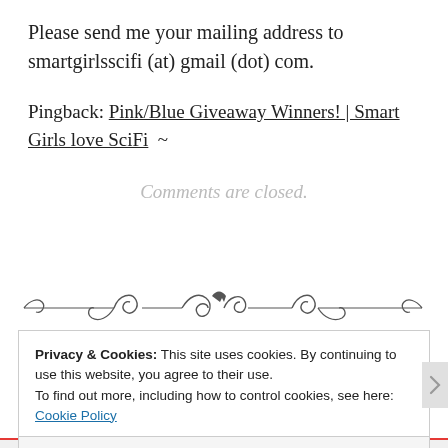Please send me your mailing address to smartgirlsscifi (at) gmail (dot) com.
Pingback: Pink/Blue Giveaway Winners! | Smart Girls love SciFi  ~
Comments are closed.
[Figure (illustration): Decorative ornamental divider with scroll/flourish design]
Privacy & Cookies: This site uses cookies. By continuing to use this website, you agree to their use.
To find out more, including how to control cookies, see here: Cookie Policy
Close and accept